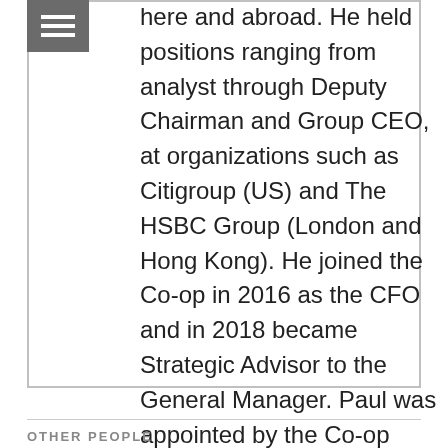[Figure (other): Hamburger menu icon — three horizontal white bars on a dark grey square background]
here and abroad. He held positions ranging from analyst through Deputy Chairman and Group CEO, at organizations such as Citigroup (US) and The HSBC Group (London and Hong Kong). He joined the Co-op in 2016 as the CFO and in 2018 became Strategic Advisor to the General Manager. Paul was appointed by the Co-op Board as interim General Manager in March 2020 and General Manager in September 2020. To contact, email PGuidone@coopfoodstore.com.
OTHER PEOPLE